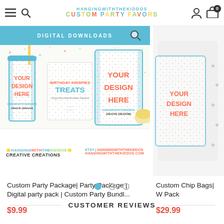HANGINGWITHTHEKIDDOS CUSTOM PARTY FAVORS
[Figure (screenshot): Product listing image for Custom Party Package showing party favor items with confetti pattern design including chip bags and cups with YOUR DESIGN HERE text, with Digital Downloads banner and brand logos]
Custom Party Package| Party Package | Digital party pack | Custom Party Bundl...
$9.99
[Figure (screenshot): Partial product listing image for Custom Chip Bags with dots decoration on right side]
Custom Chip Bags| W Pack
$29.99
CUSTOMER REVIEWS